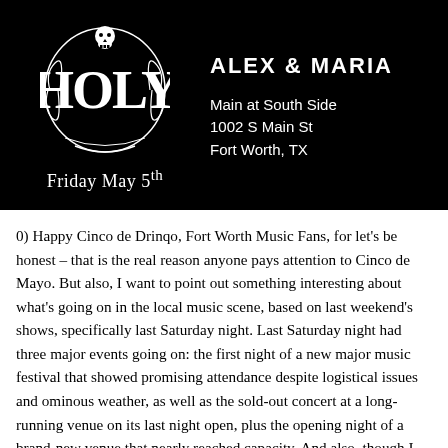[Figure (illustration): Black header banner with decorative logo on the left (ornate gothic 'HOLY' emblem with skull), date 'Friday May 5th' below logo, and on the right: 'ALEX & MARIA', 'Main at South Side', '1002 S Main St', 'Fort Worth, TX']
0) Happy Cinco de Drinqo, Fort Worth Music Fans, for let's be honest – that is the real reason anyone pays attention to Cinco de Mayo. But also, I want to point out something interesting about what's going on in the local music scene, based on last weekend's shows, specifically last Saturday night. Last Saturday night had three major events going on: the first night of a new major music festival that showed promising attendance despite logistical issues and ominous weather, as well as the sold-out concert at a long-running venue on its last night open, plus the opening night of a brand-new venue that nearly reached capacity. And also, though I don't know how many people showed up to Lola's Sub Oslo show, I'd guess the number was respectable. The short of all that attendance talk is that even without Fortress Fest drawing in fans from out of town, there are still a lot of people who go to see live music on a Saturday night